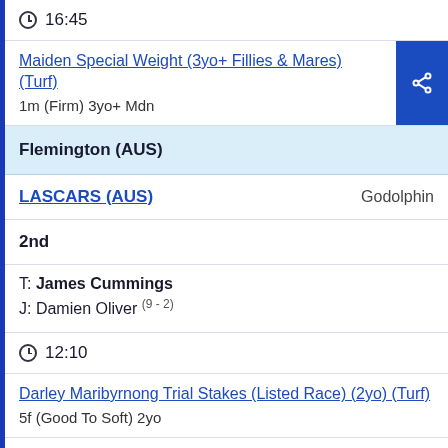16:45
Maiden Special Weight (3yo+ Fillies & Mares) (Turf)
1m (Firm) 3yo+ Mdn
Flemington (AUS)
LASCARS (AUS)    Godolphin
2nd
T: James Cummings
J: Damien Oliver (9 - 2)
12:10
Darley Maribyrnong Trial Stakes (Listed Race) (2yo) (Turf)
5f (Good To Soft) 2yo